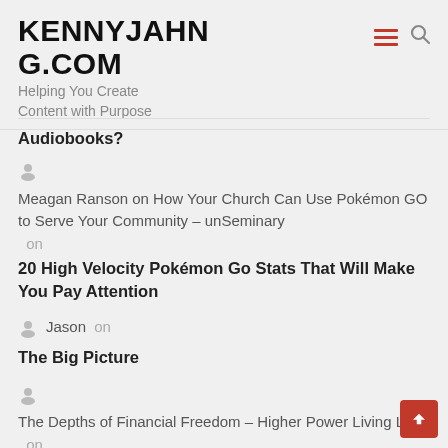KENNYJAHNG.COM
Helping You Create Content with Purpose
Audiobooks?
Meagan Ranson on How Your Church Can Use Pokémon GO to Serve Your Community – unSeminary on
20 High Velocity Pokémon Go Stats That Will Make You Pay Attention
Jason on
The Big Picture
The Depths of Financial Freedom – Higher Power Living LLC. on
Eyebrow-Raising Facts About Church Tithing That Clearly Defines The Generosity Gap